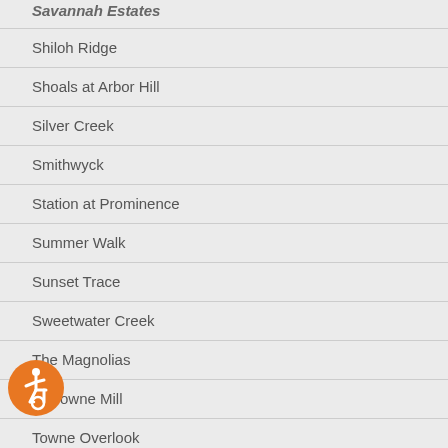Savannah Estates (partial/cut off at top)
Shiloh Ridge
Shoals at Arbor Hill
Silver Creek
Smithwyck
Station at Prominence
Summer Walk
Sunset Trace
Sweetwater Creek
The Magnolias
Towne Mill
Towne Overlook